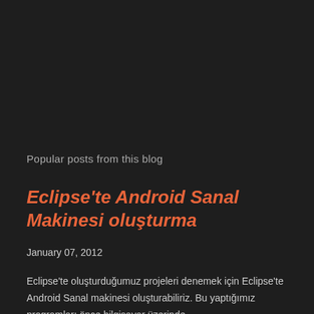Popular posts from this blog
Eclipse'te Android Sanal Makinesi oluşturma
January 07, 2012
Eclipse'te oluşturduğumuz projeleri denemek için Eclipse'te Android Sanal makinesi oluşturabiliriz. Bu yaptığımız programları önce bilgisayar üzerinde